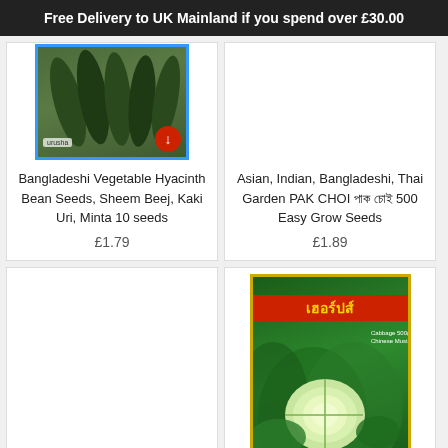Free Delivery to UK Mainland if you spend over £30.00
[Figure (photo): Bangladeshi Vegetable Hyacinth Bean Seeds packet with dark green beans, blue border, red circular badge with down arrow]
Bangladeshi Vegetable Hyacinth Bean Seeds, Sheem Beej, Kaki Uri, Minta 10 seeds
£1.79
[Figure (photo): Empty white product image area for Asian Indian Bangladeshi Thai Garden PAK CHOI product]
Asian, Indian, Bangladeshi, Thai Garden PAK CHOI 🌿🌿 500 Easy Grow Seeds
£1.89
[Figure (photo): Empty white product image area for third product]
[Figure (photo): Green seed packet with yellow border, Thai text in red banner, cabbage illustration, Chinese Mustard label]